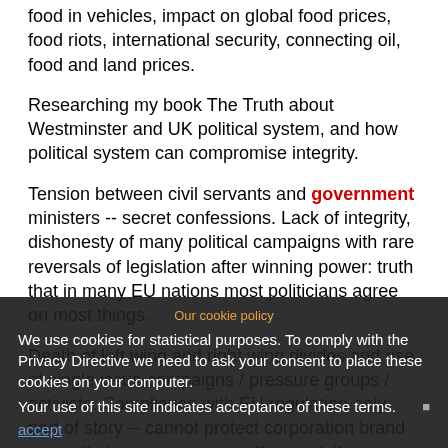food in vehicles, impact on global food prices, food riots, international security, connecting oil, food and land prices.
Researching my book The Truth about Westminster and UK political system, and how political system can compromise integrity.
Tension between civil servants and government ministers -- secret confessions. Lack of integrity, dishonesty of many political campaigns with rare reversals of legislation after winning power: truth that in many EU nations most politicians agree on most things.
Death of left wing and right wing divides and rise of single issue campaigns / pressure groups / activists. Compliance with EU regulation only part of story -- cannot protect corporation brand or media image against media attack if regulations seen to be in need of updating.
Example: bribes were totally legal in some EU nations until recently, and our own auditing regulations at the time.
So Ethical Leadership must go beyond current laws to what we believe is morally right, not hiding behind what is
Our cookie policy
We use cookies for statistical purposes. To comply with the Privacy Directive we need to ask your consent to place these cookies on your computer.
Your use of this site indicates acceptance of these terms.
accept